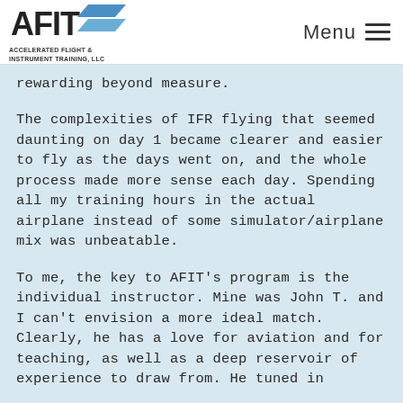AFIT - ACCELERATED FLIGHT & INSTRUMENT TRAINING, LLC | Menu
rewarding beyond measure.
The complexities of IFR flying that seemed daunting on day 1 became clearer and easier to fly as the days went on, and the whole process made more sense each day. Spending all my training hours in the actual airplane instead of some simulator/airplane mix was unbeatable.
To me, the key to AFIT's program is the individual instructor. Mine was John T. and I can't envision a more ideal match. Clearly, he has a love for aviation and for teaching, as well as a deep reservoir of experience to draw from. He tuned in